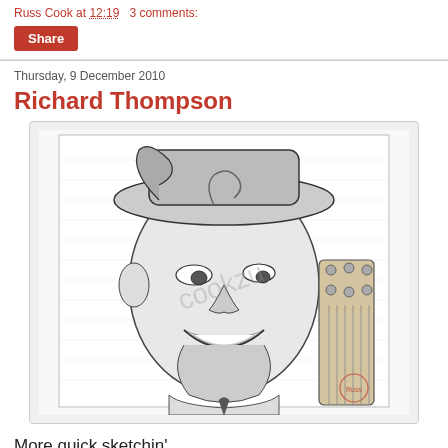Russ Cook at 12:19   3 comments:
Share
Thursday, 9 December 2010
Richard Thompson
[Figure (illustration): Caricature illustration of Richard Thompson, a musician, drawn in black and white pencil/ink style. The figure has an exaggerated smiling face, curly hair, wearing a hat, holding or leaning against a guitar. A watermark reading 'cookzu' appears in the center. A small red stamp signature is in the lower right of the illustration.]
More quick sketchin'